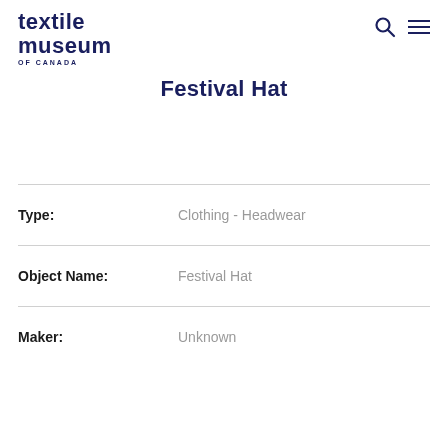textilemuseum OF CANADA
Festival Hat
Type: Clothing - Headwear
Object Name: Festival Hat
Maker: Unknown